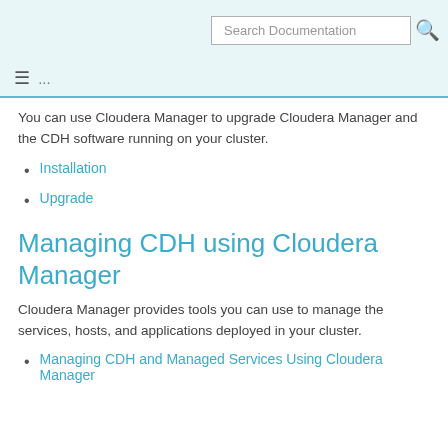Search Documentation
You can use Cloudera Manager to upgrade Cloudera Manager and the CDH software running on your cluster.
Installation
Upgrade
Managing CDH using Cloudera Manager
Cloudera Manager provides tools you can use to manage the services, hosts, and applications deployed in your cluster.
Managing CDH and Managed Services Using Cloudera Manager